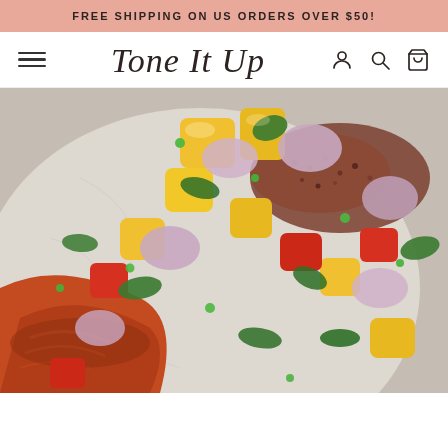FREE SHIPPING ON US ORDERS OVER $50!
Tone It Up
[Figure (photo): Close-up food photo of a dish with spiced salmon topped with a colorful mango salsa featuring diced mango, red onion, red bell pepper, cilantro, and green onions, served on a marble plate alongside quinoa]